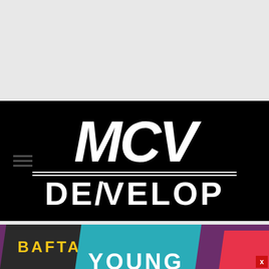[Figure (logo): MCV Develop logo — white bold italic MCV text over the word DEVELOP in white on black background, with horizontal double rule separating the two words. Hamburger menu icon on the left side.]
[Figure (illustration): BAFTA Young Game Designers banner — dark background with yellow BAFTA text on dark skewed box, teal skewed box with white YOUNG text partially visible, and red skewed accent box. X close button at bottom right.]